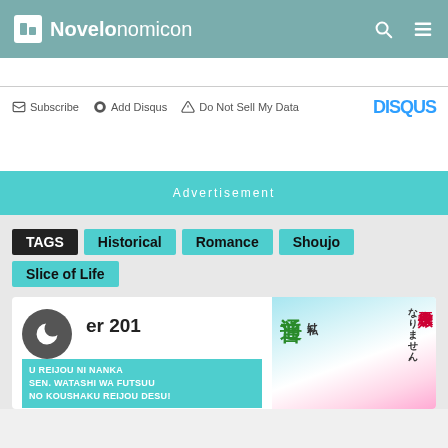Novelonomicon
Subscribe  Add Disqus  Do Not Sell My Data  DISQUS
Advertisement
TAGS  Historical  Romance  Shoujo  Slice of Life
Chapter 201
AKU YAKU REIJOU NI NANKA NARIMASEN. WATASHI WA FUTSUU NO KOUSHAKU REIJOU DESU!
July 22, 2022
[Figure (illustration): Manga cover art with Japanese text and anime-style characters]